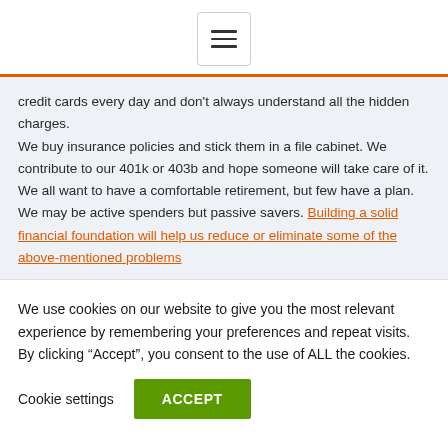[hamburger menu icon]
credit cards every day and don't always understand all the hidden charges.
We buy insurance policies and stick them in a file cabinet. We contribute to our 401k or 403b and hope someone will take care of it. We all want to have a comfortable retirement, but few have a plan. We may be active spenders but passive savers. Building a solid financial foundation will help us reduce or eliminate some of the above-mentioned problems
We use cookies on our website to give you the most relevant experience by remembering your preferences and repeat visits. By clicking “Accept”, you consent to the use of ALL the cookies.
Cookie settings  ACCEPT